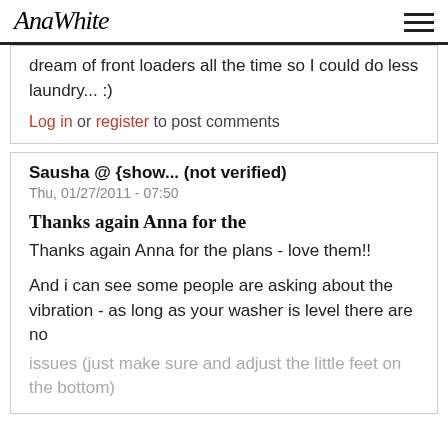AnaWhite
dream of front loaders all the time so I could do less laundry... :)
Log in or register to post comments
Sausha @ {show... (not verified)
Thu, 01/27/2011 - 07:50
Thanks again Anna for the
Thanks again Anna for the plans - love them!!
And i can see some people are asking about the vibration - as long as your washer is level there are no issues (just make sure and adjust the little feet on the bottom)